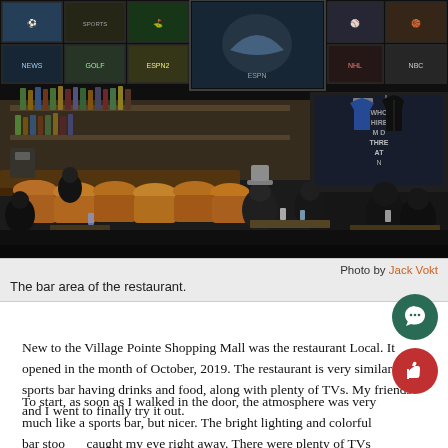[Figure (photo): Interior photo of a sports bar/restaurant showing a bar area with yellow/gold bar stools, multiple TVs mounted on the wall showing various sports, a bar counter with bottles, dark panels on the right side with merchandise (a blue shirt and black jacket), and people seated at tables in the background.]
Photo by Jack Vokt
The bar area of the restaurant.
New to the Village Pointe Shopping Mall was the restaurant Local. It opened in the month of October, 2019. The restaurant is very similar to a sports bar having drinks and food, along with plenty of TVs. My friends and I went to finally try it out.
To start, as soon as I walked in the door, the atmosphere was very much like a sports bar, but nicer. The bright lighting and colorful bar stools caught my eye right away. There were plenty of TVs to watch all around the restaurant. We sat in the back left corner and I could watch hockey